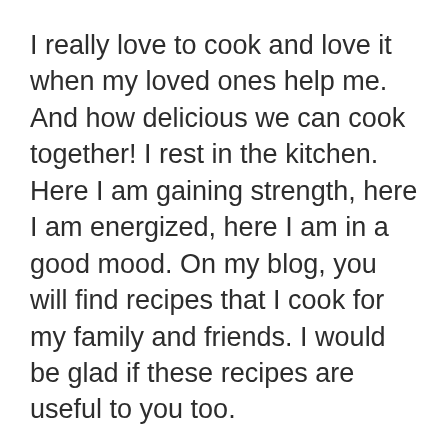I really love to cook and love it when my loved ones help me. And how delicious we can cook together! I rest in the kitchen. Here I am gaining strength, here I am energized, here I am in a good mood. On my blog, you will find recipes that I cook for my family and friends. I would be glad if these recipes are useful to you too.
About us
Contact
Privacy Policy & Cookies
ATTENTION TO RIGHT HOLDERS! All materials are posted on the site strictly for